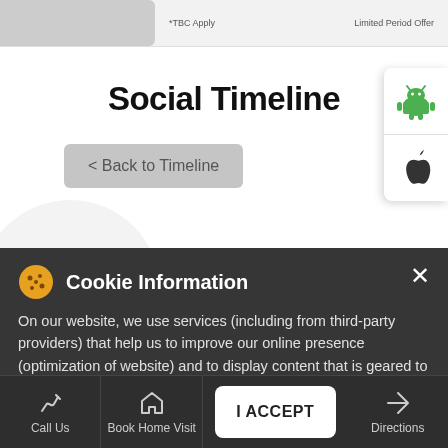*TBC Apply   Limited Period Offer
Social Timeline
< Back to Timeline
[Figure (screenshot): Android and Apple app store icon buttons on right side panel]
Cookie Information
On our website, we use services (including from third-party providers) that help us to improve our online presence (optimization of website) and to display content that is geared to their interests. We need your consent before being able to use these services.
I ACCEPT
Call Us
Book Home Visit
Directions